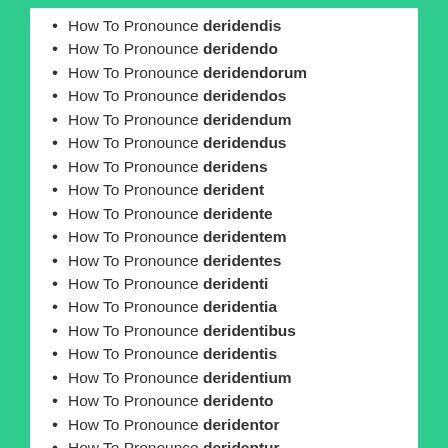How To Pronounce deridendis
How To Pronounce deridendo
How To Pronounce deridendorum
How To Pronounce deridendos
How To Pronounce deridendum
How To Pronounce deridendus
How To Pronounce deridens
How To Pronounce derident
How To Pronounce deridente
How To Pronounce deridentem
How To Pronounce deridentes
How To Pronounce deridenti
How To Pronounce deridentia
How To Pronounce deridentibus
How To Pronounce deridentis
How To Pronounce deridentium
How To Pronounce deridentо
How To Pronounce deridentor
How To Pronounce deridentur
How To Pronounce derideo
How To Pronounce derideor
How To Pronounce Derider
How To Pronounce deriderci